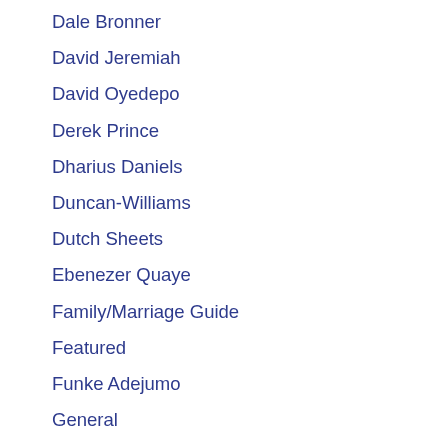Dale Bronner
David Jeremiah
David Oyedepo
Derek Prince
Dharius Daniels
Duncan-Williams
Dutch Sheets
Ebenezer Quaye
Family/Marriage Guide
Featured
Funke Adejumo
General